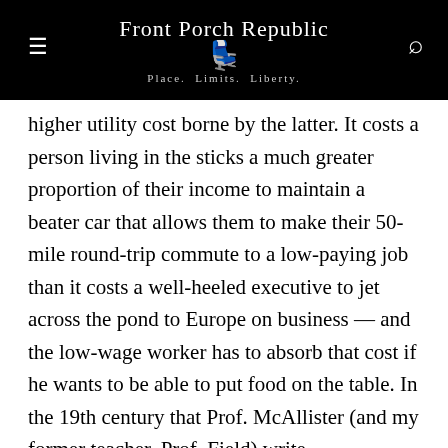Front Porch Republic — Place. Limits. Liberty.
higher utility cost borne by the latter. It costs a person living in the sticks a much greater proportion of their income to maintain a beater car that allows them to make their 50-mile round-trip commute to a low-paying job than it costs a well-heeled executive to jet across the pond to Europe on business — and the low-wage worker has to absorb that cost if he wants to be able to put food on the table. In the 19th century that Prof. McAllister (and my former teacher, Prof. Field) write